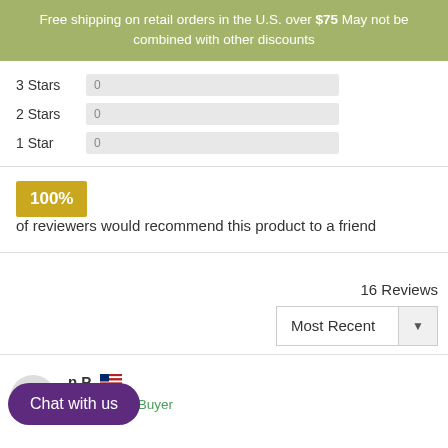Free shipping on retail orders in the U.S. over $75 May not be combined with other discounts
3 Stars  0
2 Stars  0
1 Star   0
100% of reviewers would recommend this product to a friend
16 Reviews
Most Recent
n P.  Verified Buyer